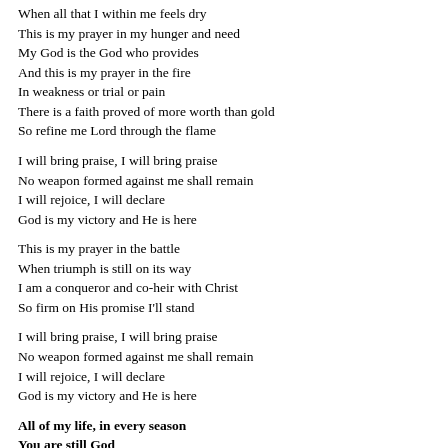When all that I within me feels dry
This is my prayer in my hunger and need
My God is the God who provides
And this is my prayer in the fire
In weakness or trial or pain
There is a faith proved of more worth than gold
So refine me Lord through the flame
I will bring praise, I will bring praise
No weapon formed against me shall remain
I will rejoice, I will declare
God is my victory and He is here
This is my prayer in the battle
When triumph is still on its way
I am a conqueror and co-heir with Christ
So firm on His promise I'll stand
I will bring praise, I will bring praise
No weapon formed against me shall remain
I will rejoice, I will declare
God is my victory and He is here
All of my life, in every season
You are still God
I have a reason to sing
I have a reason to worship
All of my life, in every season